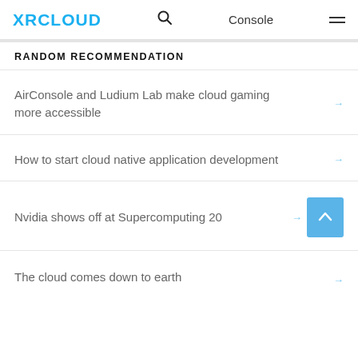XRCLOUD | Console
RANDOM RECOMMENDATION
AirConsole and Ludium Lab make cloud gaming more accessible
How to start cloud native application development
Nvidia shows off at Supercomputing 20
The cloud comes down to earth